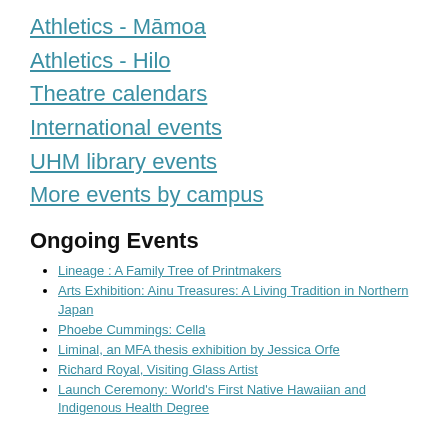Athletics - Mānoa
Athletics - Hilo
Theatre calendars
International events
UHM library events
More events by campus
Ongoing Events
Lineage : A Family Tree of Printmakers
Arts Exhibition: Ainu Treasures: A Living Tradition in Northern Japan
Phoebe Cummings: Cella
Liminal, an MFA thesis exhibition by Jessica Orfe
Richard Royal, Visiting Glass Artist
Launch Ceremony: World's First Native Hawaiian and Indigenous Health Degree